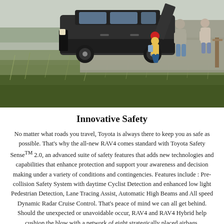[Figure (photo): A family with a dark SUV (Toyota RAV4) parked on a gravel area near tall grass. A child in a red hat and yellow jacket is running toward the open rear hatch while an adult helps load items. Another adult stands nearby. Outdoor rural/coastal setting.]
Innovative Safety
No matter what roads you travel, Toyota is always there to keep you as safe as possible. That's why the all-new RAV4 comes standard with Toyota Safety Sense™ 2.0, an advanced suite of safety features that adds new technologies and capabilities that enhance protection and support your awareness and decision making under a variety of conditions and contingencies. Features include : Pre-collision Safety System with daytime Cyclist Detection and enhanced low light Pedestrian Detection, Lane Tracing Assist, Automatic High Beams and All speed Dynamic Radar Cruise Control. That's peace of mind we can all get behind. Should the unexpected or unavoidable occur, RAV4 and RAV4 Hybrid help cushion the blow with a network of eight strategically placed airbags.